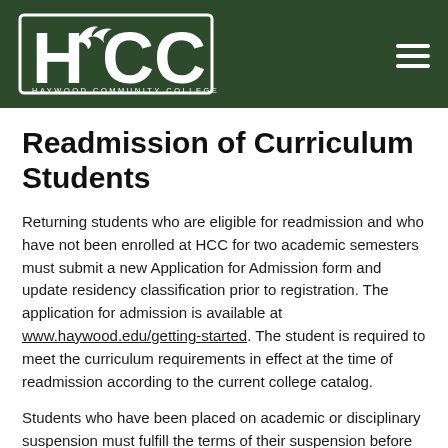[Figure (logo): HCC Haywood Community College logo — white text on dark green header bar with hamburger menu icon on the right]
Readmission of Curriculum Students
Returning students who are eligible for readmission and who have not been enrolled at HCC for two academic semesters must submit a new Application for Admission form and update residency classification prior to registration. The application for admission is available at www.haywood.edu/getting-started. The student is required to meet the curriculum requirements in effect at the time of readmission according to the current college catalog.
Students who have been placed on academic or disciplinary suspension must fulfill the terms of their suspension before being considered for readmission.